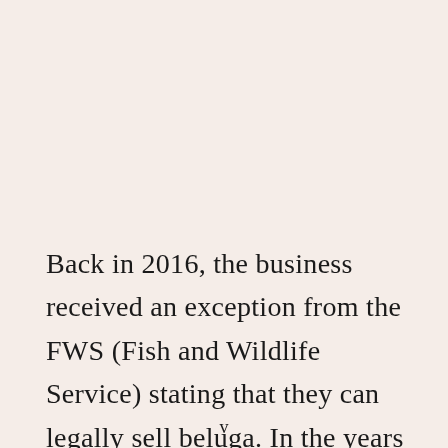Back in 2016, the business received an exception from the FWS (Fish and Wildlife Service) stating that they can legally sell beluga. In the years since the business was granted this exception, they have been working hard raising the experience...
v